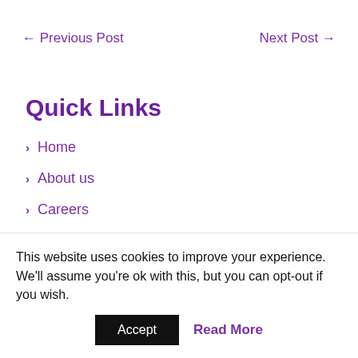← Previous Post
Next Post →
Quick Links
Home
About us
Careers
This website uses cookies to improve your experience. We'll assume you're ok with this, but you can opt-out if you wish.
Accept
Read More